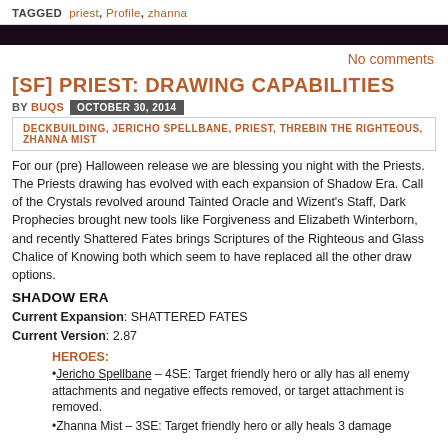TAGGED  priest, Profile, zhanna
[SF] PRIEST: DRAWING CAPABILITIES
BY BUQS  OCTOBER 30, 2014
DECKBUILDING, JERICHO SPELLBANE, PRIEST, THREBIN THE RIGHTEOUS, ZHANNA MIST
For our (pre) Halloween release we are blessing you night with the Priests. The Priests drawing has evolved with each expansion of Shadow Era. Call of the Crystals revolved around Tainted Oracle and Wizent's Staff, Dark Prophecies brought new tools like Forgiveness and Elizabeth Winterborn, and recently Shattered Fates brings Scriptures of the Righteous and Glass Chalice of Knowing both which seem to have replaced all the other draw options.
SHADOW ERA
Current Expansion: SHATTERED FATES
Current Version: 2.87
HEROES:
•Jericho Spellbane – 4SE: Target friendly hero or ally has all enemy attachments and negative effects removed, or target attachment is removed.
•Zhanna Mist – 3SE: Target friendly hero or ally heals 3 damage